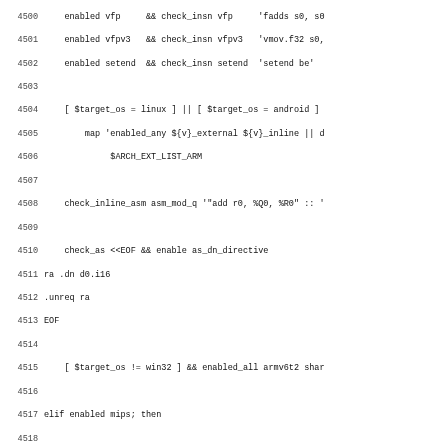Source code listing lines 4500-4531, shell/configure script with ARM and MIPS architecture detection code